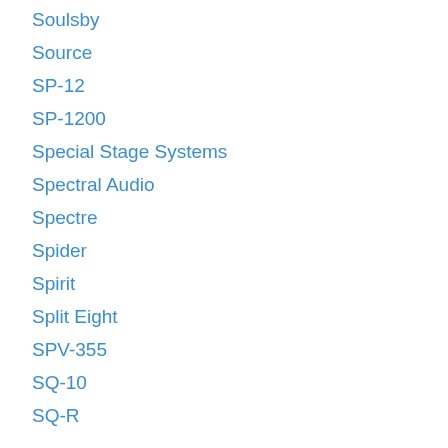Soulsby
Source
SP-12
SP-1200
Special Stage Systems
Spectral Audio
Spectre
Spider
Spirit
Split Eight
SPV-355
SQ-10
SQ-R